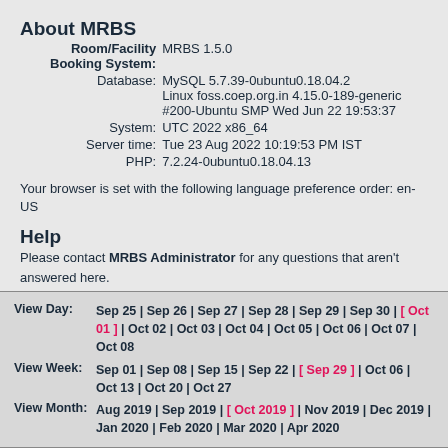About MRBS
| Label | Value |
| --- | --- |
| Room/Facility Booking System: | MRBS 1.5.0 |
| Database: | MySQL 5.7.39-0ubuntu0.18.04.2
Linux foss.coep.org.in 4.15.0-189-generic #200-Ubuntu SMP Wed Jun 22 19:53:37 |
| System: | UTC 2022 x86_64 |
| Server time: | Tue 23 Aug 2022 10:19:53 PM IST |
| PHP: | 7.2.24-0ubuntu0.18.04.13 |
Your browser is set with the following language preference order: en-US
Help
Please contact MRBS Administrator for any questions that aren't answered here.
View Day: Sep 25 | Sep 26 | Sep 27 | Sep 28 | Sep 29 | Sep 30 | [ Oct 01 ] | Oct 02 | Oct 03 | Oct 04 | Oct 05 | Oct 06 | Oct 07 | Oct 08
View Week: Sep 01 | Sep 08 | Sep 15 | Sep 22 | [ Sep 29 ] | Oct 06 | Oct 13 | Oct 20 | Oct 27
View Month: Aug 2019 | Sep 2019 | [ Oct 2019 ] | Nov 2019 | Dec 2019 | Jan 2020 | Feb 2020 | Mar 2020 | Apr 2020